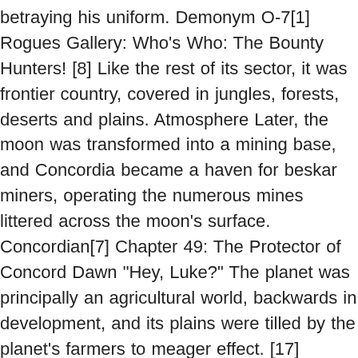betraying his uniform. Demonym O-7[1] Rogues Gallery: Who's Who: The Bounty Hunters! [8] Like the rest of its sector, it was frontier country, covered in jungles, forests, deserts and plains. Atmosphere Later, the moon was transformed into a mining base, and Concordia became a haven for beskar miners, operating the numerous mines littered across the moon's surface. Concordian[7] Chapter 49: The Protector of Concord Dawn "Hey, Luke?" The planet was principally an agricultural world, backwards in development, and its plains were tilled by the planet's farmers to meager effect. [17] Factors that created a strong sense of loyalty were present in the typical Concord Dawn genome, which the cloners of Kamino used to their advantage by amplifying those traits in Fett's clones. A marksman, Hardeen earned the nickname the `` marksman of